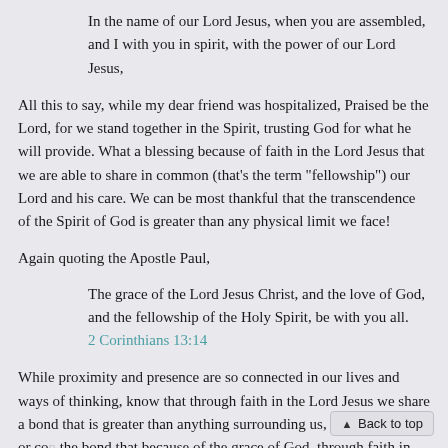In the name of our Lord Jesus, when you are assembled, and I with you in spirit, with the power of our Lord Jesus,
All this to say, while my dear friend was hospitalized, Praised be the Lord, for we stand together in the Spirit, trusting God for what he will provide. What a blessing because of faith in the Lord Jesus that we are able to share in common (that’s the term “fellowship”) our Lord and his care. We can be most thankful that the transcendence of the Spirit of God is greater than any physical limit we face!
Again quoting the Apostle Paul,
The grace of the Lord Jesus Christ, and the love of God, and the fellowship of the Holy Spirit, be with you all.
2 Corinthians 13:14
While proximity and presence are so connected in our lives and ways of thinking, know that through faith in the Lord Jesus we share a bond that is greater than anything surrounding us, confronting us, or co... the bond that because of the grace of God, through faith in Jesus . . .